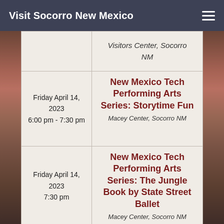Visit Socorro New Mexico
| Date/Time | Event |
| --- | --- |
|  | Visitors Center, Socorro NM |
| Friday April 14, 2023
6:00 pm - 7:30 pm | New Mexico Tech Performing Arts Series: Storytime Fun
Macey Center, Socorro NM |
| Friday April 14, 2023
7:30 pm | New Mexico Tech Performing Arts Series: The Jungle Book by State Street Ballet
Macey Center, Socorro NM |
|  |  |